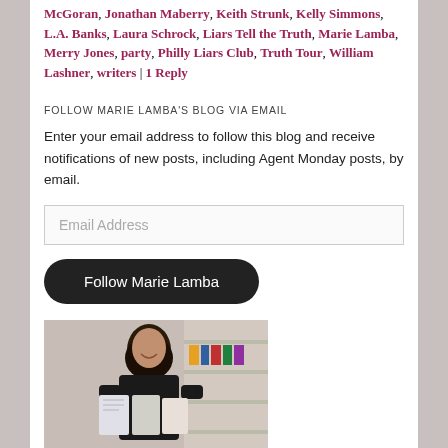McGoran, Jonathan Maberry, Keith Strunk, Kelly Simmons, L.A. Banks, Laura Schrock, Liars Tell the Truth, Marie Lamba, Merry Jones, party, Philly Liars Club, Truth Tour, William Lashner, writers | 1 Reply
FOLLOW MARIE LAMBA'S BLOG VIA EMAIL
Enter your email address to follow this blog and receive notifications of new posts, including Agent Monday posts, by email.
Email Address
Follow Marie Lamba
[Figure (photo): A woman with dark hair smiling, holding books, standing in what appears to be a store or bookshop.]